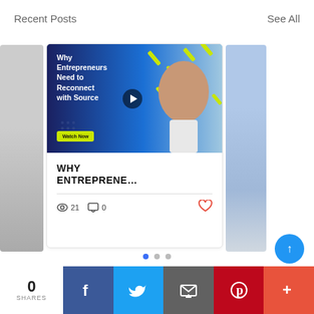Recent Posts
See All
[Figure (screenshot): Video thumbnail with dark blue background, text 'Why Entrepreneurs Need to Reconnect with Source', play button, 'Watch Now' yellow button, and portrait of a man]
WHY ENTREPRENE...
21  0
[Figure (screenshot): Pagination dots: one filled blue, two grey]
0 SHARES  Facebook  Twitter  Email  Pinterest  More